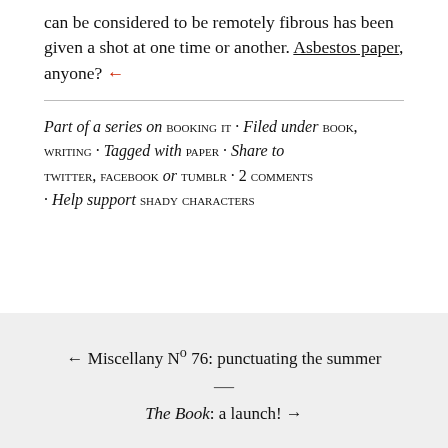can be considered to be remotely fibrous has been given a shot at one time or another. Asbestos paper, anyone? ←
Part of a series on BOOKING IT · Filed under BOOK, WRITING · Tagged with PAPER · Share to TWITTER, FACEBOOK or TUMBLR · 2 COMMENTS · Help support SHADY CHARACTERS
← Miscellany Nº 76: punctuating the summer — The Book: a launch! →